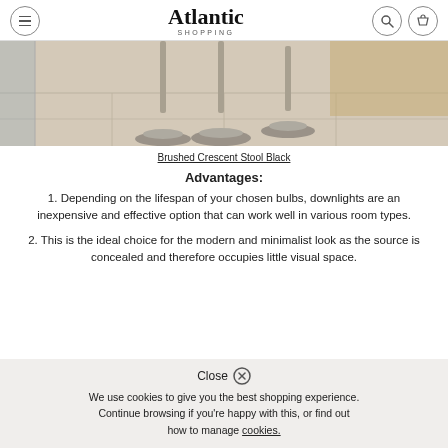Atlantic Shopping
[Figure (photo): Bar stools with brushed metal bases on light tile floor, kitchen island in background]
Brushed Crescent Stool Black
Advantages:
1. Depending on the lifespan of your chosen bulbs, downlights are an inexpensive and effective option that can work well in various room types.
2. This is the ideal choice for the modern and minimalist look as the source is concealed and therefore occupies little visual space.
Close
We use cookies to give you the best shopping experience. Continue browsing if you're happy with this, or find out how to manage cookies.